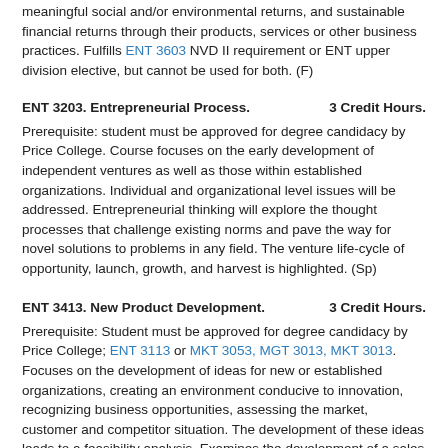meaningful social and/or environmental returns, and sustainable financial returns through their products, services or other business practices. Fulfills ENT 3603 NVD II requirement or ENT upper division elective, but cannot be used for both. (F)
ENT 3203. Entrepreneurial Process. 3 Credit Hours.
Prerequisite: student must be approved for degree candidacy by Price College. Course focuses on the early development of independent ventures as well as those within established organizations. Individual and organizational level issues will be addressed. Entrepreneurial thinking will explore the thought processes that challenge existing norms and pave the way for novel solutions to problems in any field. The venture life-cycle of opportunity, launch, growth, and harvest is highlighted. (Sp)
ENT 3413. New Product Development. 3 Credit Hours.
Prerequisite: Student must be approved for degree candidacy by Price College; ENT 3113 or MKT 3053, MGT 3013, MKT 3013. Focuses on the development of ideas for new or established organizations, creating an environment conducive to innovation, recognizing business opportunities, assessing the market, customer and competitor situation. The development of these ideas leads to a feasibility analysis. Examines the development of a sales and distribution structure (including franchising, distributorship, and licensing and alliances), understanding segmentation, targeting, and niching. (Irreg.)